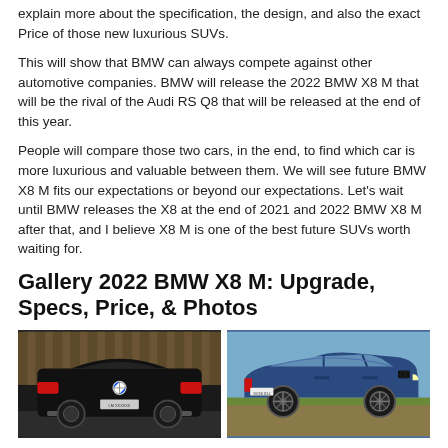explain more about the specification, the design, and also the exact Price of those new luxurious SUVs.
This will show that BMW can always compete against other automotive companies. BMW will release the 2022 BMW X8 M that will be the rival of the Audi RS Q8 that will be released at the end of this year.
People will compare those two cars, in the end, to find which car is more luxurious and valuable between them. We will see future BMW X8 M fits our expectations or beyond our expectations. Let’s wait until BMW releases the X8 at the end of 2021 and 2022 BMW X8 M after that, and I believe X8 M is one of the best future SUVs worth waiting for.
Gallery 2022 BMW X8 M: Upgrade, Specs, Price, & Photos
[Figure (photo): Rear view of a black BMW SUV (X8 M) parked outdoors with wooden fence background]
[Figure (photo): Side view of a blue BMW SUV (X2/X8 M) parked outdoors in a field with blue sky]